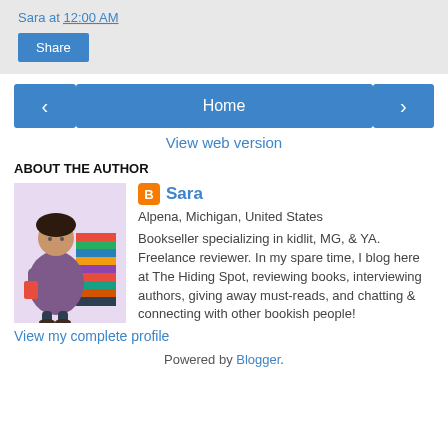Sara at 12:00 AM
Share
‹
Home
›
View web version
ABOUT THE AUTHOR
Sara
Alpena, Michigan, United States
Bookseller specializing in kidlit, MG, & YA. Freelance reviewer. In my spare time, I blog here at The Hiding Spot, reviewing books, interviewing authors, giving away must-reads, and chatting & connecting with other bookish people!
View my complete profile
Powered by Blogger.